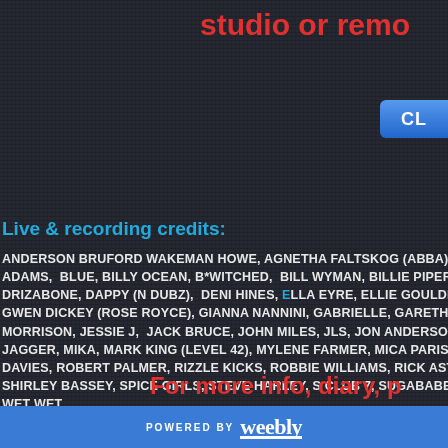studio or remo
Live & recording credits:
ANDERSON BRUFORD WAKEMAN HOWE, AGNETHA FALTSKOG (ABBA), ANNIE LENNOX, ALEX ADAMS, BLUE, BILLY OCEAN, B*WITCHED, BILL WYMAN, BILLIE PIPER, BILL BAILEY, BRIAN H DRIZABONE, DAPPY (N DUBZ), DENI HINES, ELLA EYRE, ELLIE GOULDING, ETERNAL, ELIZA D GWEN DICKEY (ROSE ROYCE), GIANNA NANNINI, GABRIELLE, GARETH GATES, GIRLS ALOUD MORRISON, JESSIE J, JACK BRUCE, JOHN MILES, JLS, JON ANDERSON, KYLIE MINOGUE, KU JAGGER, MIKA, MARK KING (LEVEL 42), MYLENE FARMER, MICA PARIS, M PEOPLE, MIDGE UR DAVIES, ROBERT PALMER, RIZZLE KICKS, ROBBIE WILLIAMS, RICK ASTLEY, RONAN KEATING SHIRLEY BASSEY, SPICE GIRLS, STEVE HARLEY, S CLUB 7, SUGABABES, TAKE THAT, TINA TU WET WET.
For more info, diary, p
POWERED BY weebly